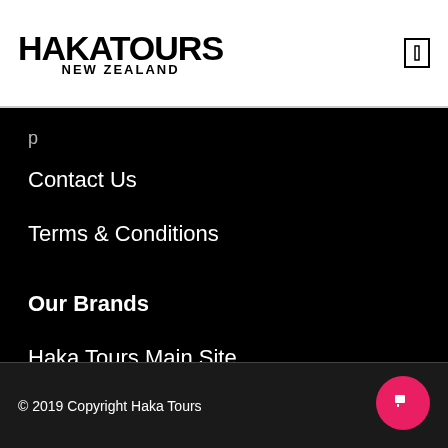HAKA TOURS NEW ZEALAND
Contact Us
Terms & Conditions
Our Brands
Haka Tours Main Site
Haka Tourism Group
© 2019 Copyright Haka Tours